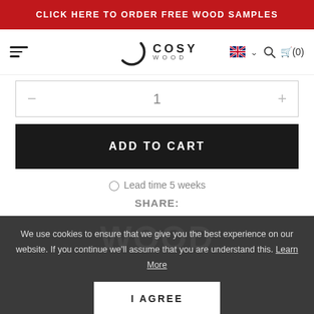CLICK HERE TO ORDER FREE WOOD SAMPLES
[Figure (logo): Cosy Wood brand logo with circular ring icon and text COSY WOOD]
1
ADD TO CART
Lead time 5 weeks
SHARE:
We use cookies to ensure that we give you the best experience on our website. If you continue we'll assume that you are understand this. Learn More
I AGREE
ADDITIONAL IN